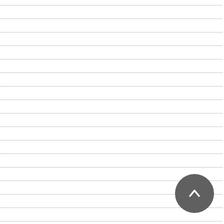Petroleum And Natural Gas Regulatory Board &
Pilerne Citizens Forum
Pillution
Pimpalgaon Baswant & Others
Pimpri Chinchwad Mun.Corpon. & Others
Pimpri Chinchwad Municipal Corporation & Othe
Pinak Ranjan Das
Pioneer Overseas Corporation
Pivotal Infrastructure Pvt. Ltd. & Others
Piyush Joshi & Ors
Piyush Joshi & Others
Piyush Singh
Plastic
Platinum AAC Blocks Private Ltd.
PLoS ONE
PM2.5
PMC & Others
Poachingm
Police Commissioner Delhi & Others